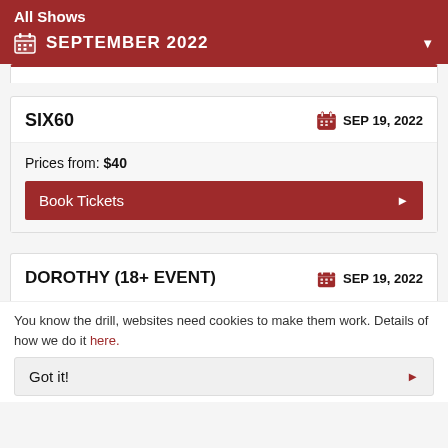All Shows
SEPTEMBER 2022
SIX60
SEP 19, 2022
Prices from: $40
Book Tickets
DOROTHY (18+ EVENT)
SEP 19, 2022
You know the drill, websites need cookies to make them work. Details of how we do it here.
Got it!